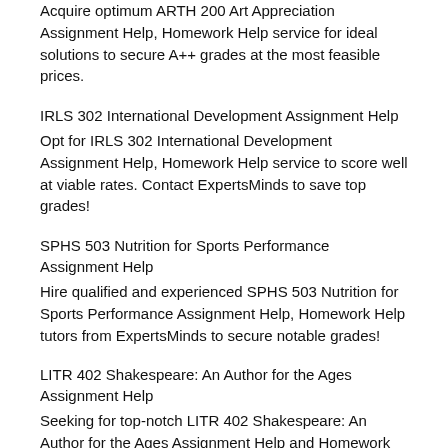Acquire optimum ARTH 200 Art Appreciation Assignment Help, Homework Help service for ideal solutions to secure A++ grades at the most feasible prices.
IRLS 302 International Development Assignment Help
Opt for IRLS 302 International Development Assignment Help, Homework Help service to score well at viable rates. Contact ExpertsMinds to save top grades!
SPHS 503 Nutrition for Sports Performance Assignment Help
Hire qualified and experienced SPHS 503 Nutrition for Sports Performance Assignment Help, Homework Help tutors from ExpertsMinds to secure notable grades!
LITR 402 Shakespeare: An Author for the Ages Assignment Help
Seeking for top-notch LITR 402 Shakespeare: An Author for the Ages Assignment Help and Homework solutions to secure high grades? Hire ExpertsMinds today!